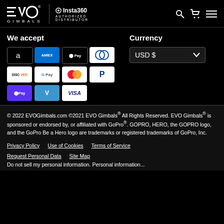EVO GIMBALS — Insta360 Authorized Distributor
We accept
[Figure (other): Payment method icons: Amazon, Amex, Apple Pay, Diners Club, Discover, Google Pay, Mastercard, PayPal, Shop Pay, Venmo, Visa]
Currency
[Figure (other): Currency dropdown selector showing USD $]
© 2022 EVOGimbals.com ©2021 EVO Gimbals® All Rights Reserved. EVO Gimbals® is sponsored or endorsed by, or affiliated with GoPro®. GOPRO, HERO, the GOPRO logo, and the GoPro Be a Hero logo are trademarks or registered trademarks of GoPro, Inc.
Privacy Policy
Use of Cookies
Terms of Service
Request Personal Data
Site Map
Do not sell my personal information. Personal information...